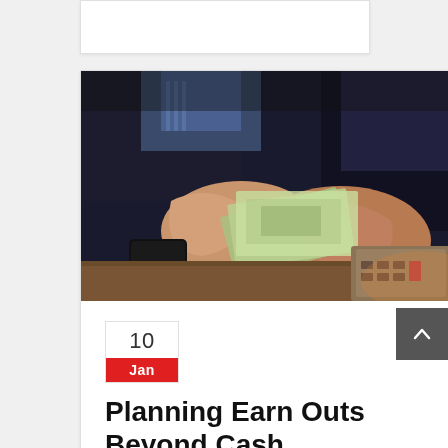[Figure (photo): Top card stub - partial white card visible at top of page]
[Figure (photo): Person in business suit counting US dollar bills over a desk with a smartphone and calculator visible]
10
Jan
Planning Earn Outs Beyond Cash